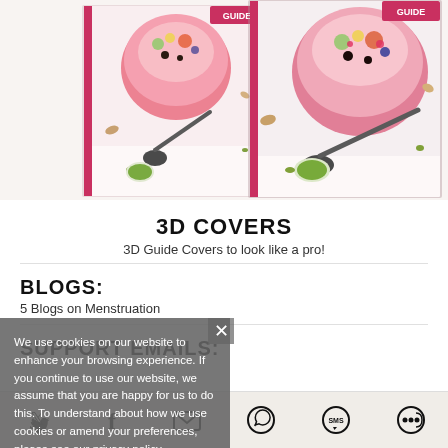[Figure (photo): Two smoothie bowl book covers shown as 3D mock-ups with toppings of fruit, nuts, seeds and a spoon on white background]
3D COVERS
3D Guide Covers to look like a pro!
BLOGS:
5 Blogs on Menstruation
SUPPORT EMAILS:
We use cookies on our website to enhance your browsing experience. If you continue to use our website, we assume that you are happy for us to do this. To understand about how we use cookies or amend your preferences, please see our privacy policy.
Social share bar with icons: Twitter, Facebook, Email, WhatsApp, SMS, Other